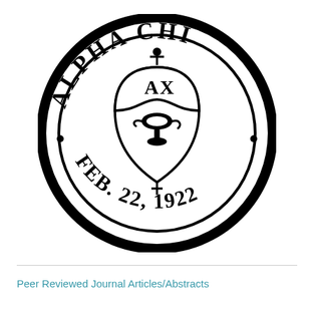[Figure (logo): Alpha Chi honor society circular seal with shield bearing 'AX' and a lamp, surrounded by text 'ALPHA CHI' at top and 'FEB. 22, 1922' at bottom, with decorative dots on sides]
Peer Reviewed Journal Articles/Abstracts